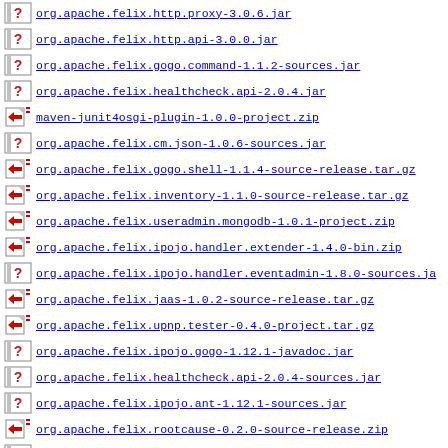org.apache.felix.http.proxy-3.0.6.jar
org.apache.felix.http.api-3.0.0.jar
org.apache.felix.gogo.command-1.1.2-sources.jar
org.apache.felix.healthcheck.api-2.0.4.jar
maven-junit4osgi-plugin-1.0.0-project.zip
org.apache.felix.cm.json-1.0.6-sources.jar
org.apache.felix.gogo.shell-1.1.4-source-release.tar.gz
org.apache.felix.inventory-1.1.0-source-release.tar.gz
org.apache.felix.useradmin.mongodb-1.0.1-project.zip
org.apache.felix.ipojo.handler.extender-1.4.0-bin.zip
org.apache.felix.ipojo.handler.eventadmin-1.8.0-sources.ja
org.apache.felix.jaas-1.0.2-source-release.tar.gz
org.apache.felix.upnp.tester-0.4.0-project.tar.gz
org.apache.felix.ipojo.gogo-1.12.1-javadoc.jar
org.apache.felix.healthcheck.api-2.0.4-sources.jar
org.apache.felix.ipojo.ant-1.12.1-sources.jar
org.apache.felix.rootcause-0.2.0-source-release.zip
org.apache.felix.ipojo.webconsole-1.7.0-sources.jar